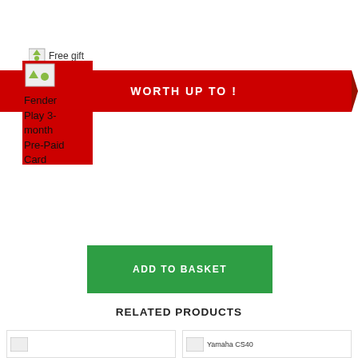[Figure (screenshot): Broken image placeholder icon labeled 'Free gift' text shown top-left area]
[Figure (screenshot): Red promotional banner with text 'WORTH UP TO !' and a chevron/arrow on right side, with product image placeholder overlapping on left]
Fender Play 3-month Pre-Paid Card
[Figure (screenshot): Green 'ADD TO BASKET' button]
RELATED PRODUCTS
[Figure (screenshot): Two related product card thumbnails at bottom, second shows 'Yamaha CS40' text]